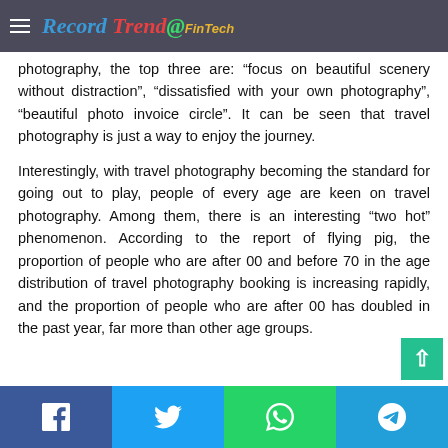Record Trend@FinTech
photography, the top three are: “focus on beautiful scenery without distraction”, “dissatisfied with your own photography”, “beautiful photo invoice circle”. It can be seen that travel photography is just a way to enjoy the journey.
Interestingly, with travel photography becoming the standard for going out to play, people of every age are keen on travel photography. Among them, there is an interesting “two hot” phenomenon. According to the report of flying pig, the proportion of people who are after 00 and before 70 in the age distribution of travel photography booking is increasing rapidly, and the proportion of people who are after 00 has doubled in the past year, far more than other age groups.
Facebook Twitter WhatsApp Telegram